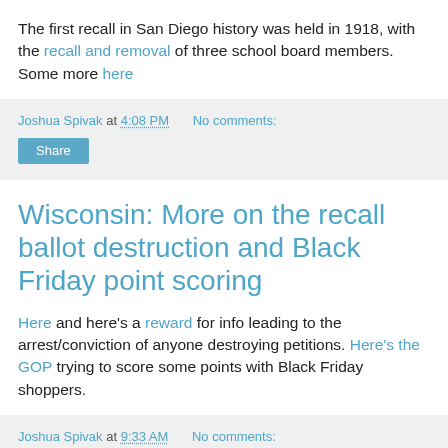The first recall in San Diego history was held in 1918, with the recall and removal of three school board members. Some more here
Joshua Spivak at 4:08 PM   No comments:
Share
Wisconsin: More on the recall ballot destruction and Black Friday point scoring
Here and here's a reward for info leading to the arrest/conviction of anyone destroying petitions. Here's the GOP trying to score some points with Black Friday shoppers.
Joshua Spivak at 9:33 AM   No comments: